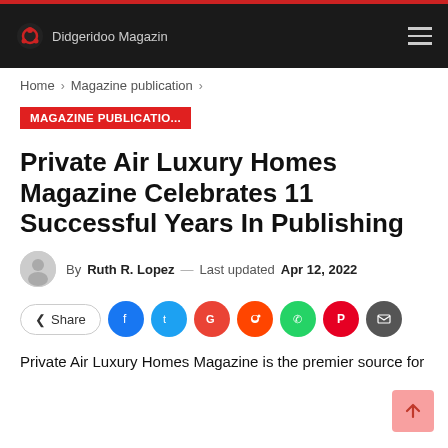Didgeridoo Magazin
Home > Magazine publication >
MAGAZINE PUBLICATIO...
Private Air Luxury Homes Magazine Celebrates 11 Successful Years In Publishing
By Ruth R. Lopez — Last updated Apr 12, 2022
Share [social icons: Facebook, Twitter, Google, Reddit, WhatsApp, Pinterest, Email]
Private Air Luxury Homes Magazine is the premier source for